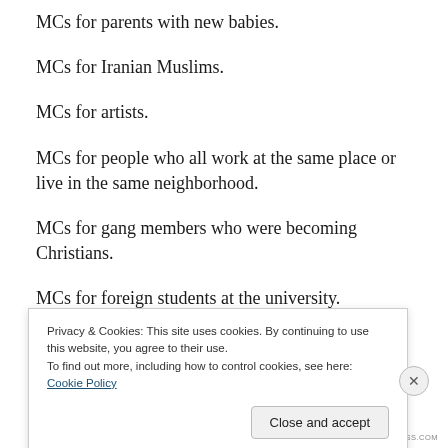MCs for parents with new babies.
MCs for Iranian Muslims.
MCs for artists.
MCs for people who all work at the same place or live in the same neighborhood.
MCs for gang members who were becoming Christians.
MCs for foreign students at the university.
We can see in some kinds of...
Privacy & Cookies: This site uses cookies. By continuing to use this website, you agree to their use.
To find out more, including how to control cookies, see here: Cookie Policy
Close and accept